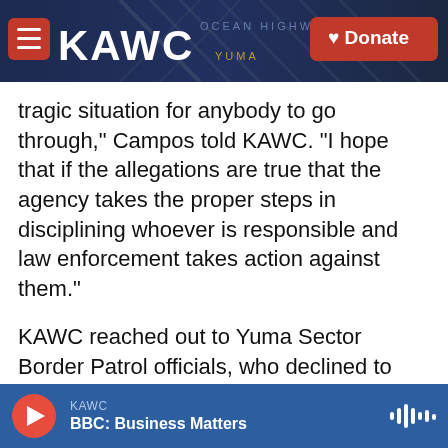[Figure (screenshot): KAWC radio station website header with logo, hamburger menu, and Donate button over a nighttime photo of a structure]
tragic situation for anybody to go through," Campos told KAWC. "I hope that if the allegations are true that the agency takes the proper steps in disciplining whoever is responsible and law enforcement takes action against them."
KAWC reached out to Yuma Sector Border Patrol officials, who declined to comment on the allegations.
In a statement, a CBP spokesperson said "U.S. Customs and Border Protection treats those in our custody with dignity and respect and provides
KAWC  BBC: Business Matters